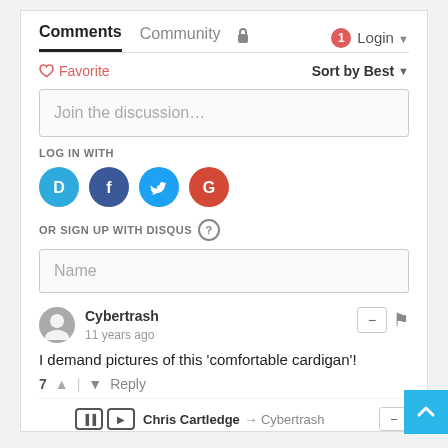Comments  Community  Login
♡ Favorite   Sort by Best
Join the discussion…
LOG IN WITH
[Figure (logo): Social login icons: Disqus (D), Facebook (f), Twitter bird, Google (G)]
OR SIGN UP WITH DISQUS ?
Name
Cybertrash
11 years ago
I demand pictures of this 'comfortable cardigan'!
7 ↑ | ↓ Reply
Chris Cartledge → Cybertrash
11 years ago